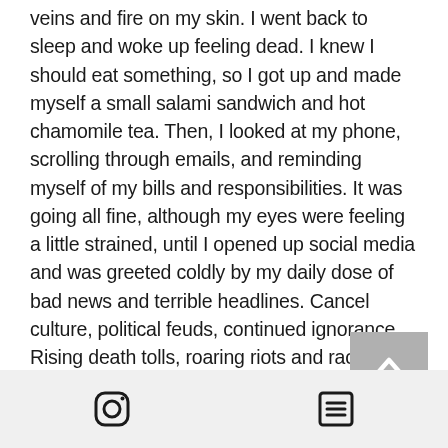veins and fire on my skin. I went back to sleep and woke up feeling dead. I knew I should eat something, so I got up and made myself a small salami sandwich and hot chamomile tea. Then, I looked at my phone, scrolling through emails, and reminding myself of my bills and responsibilities. It was going all fine, although my eyes were feeling a little strained, until I opened up social media and was greeted coldly by my daily dose of bad news and terrible headlines. Cancel culture, political feuds, continued ignorance. Rising death tolls, roaring riots and racism, the scorching Sun.
[Figure (other): Gray scroll-to-top button with upward chevron arrow]
Instagram icon and list/menu icon in footer bar